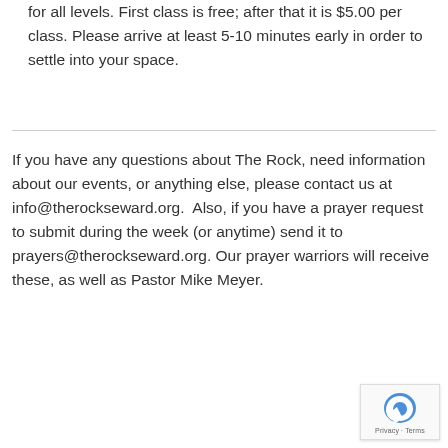for all levels. First class is free; after that it is $5.00 per class. Please arrive at least 5-10 minutes early in order to settle into your space.
If you have any questions about The Rock, need information about our events, or anything else, please contact us at info@therockseward.org.  Also, if you have a prayer request to submit during the week (or anytime) send it to prayers@therockseward.org. Our prayer warriors will receive these, as well as Pastor Mike Meyer.
[Figure (other): reCAPTCHA privacy badge in bottom right corner showing the reCAPTCHA logo and 'Privacy - Terms' text]